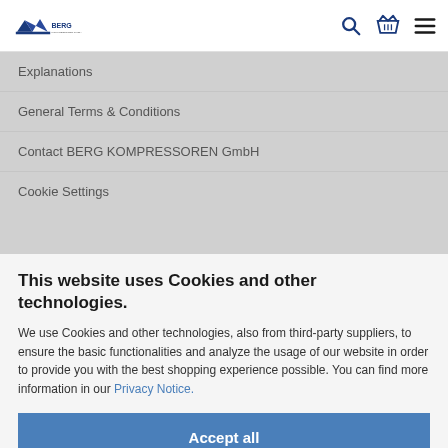BERG logo with search, basket, and menu icons
Explanations
General Terms & Conditions
Contact BERG KOMPRESSOREN GmbH
Cookie Settings
This website uses Cookies and other technologies.
We use Cookies and other technologies, also from third-party suppliers, to ensure the basic functionalities and analyze the usage of our website in order to provide you with the best shopping experience possible. You can find more information in our Privacy Notice.
Accept all
More information